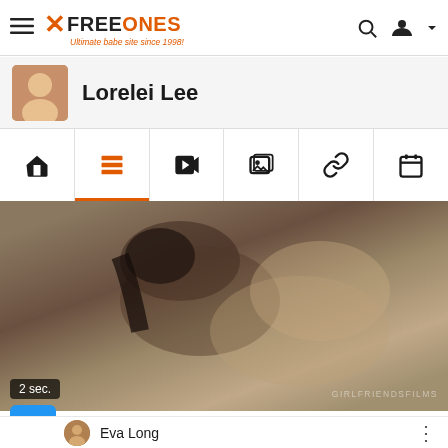FreeOnes - Ultimate babe site since 1998!
Lorelei Lee
[Figure (screenshot): Navigation tab bar with icons: home, content list (active, orange), video, gallery, link, calendar]
[Figure (photo): Video thumbnail showing two women, watermark reads GIRLFRIENDSFILMS, timer shows 2 sec.]
Eva Long